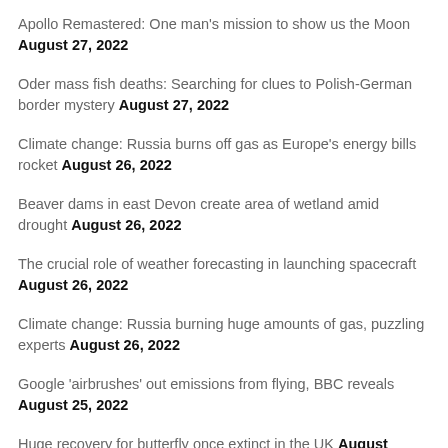Apollo Remastered: One man's mission to show us the Moon August 27, 2022
Oder mass fish deaths: Searching for clues to Polish-German border mystery August 27, 2022
Climate change: Russia burns off gas as Europe's energy bills rocket August 26, 2022
Beaver dams in east Devon create area of wetland amid drought August 26, 2022
The crucial role of weather forecasting in launching spacecraft August 26, 2022
Climate change: Russia burning huge amounts of gas, puzzling experts August 26, 2022
Google 'airbrushes' out emissions from flying, BBC reveals August 25, 2022
Huge recovery for butterfly once extinct in the UK August